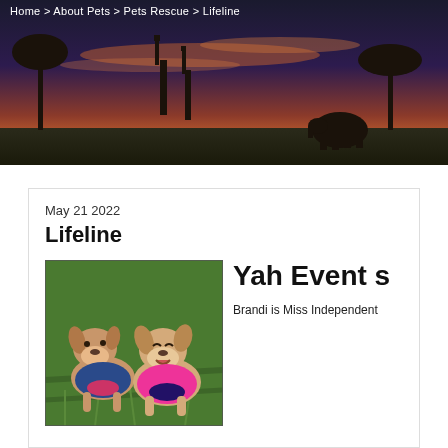[Figure (illustration): Website header banner showing a sunset silhouette of giraffes and an elephant on a savanna, with dark sky and orange-pink clouds]
Home > About Pets > Pets Rescue > Lifeline
May 21 2022
Lifeline
[Figure (photo): Two small Chihuahua dogs sitting on green grass, both wearing colorful outfits — one in blue/pink and one in pink/dark blue]
Yah Events
Brandi is Miss Independent